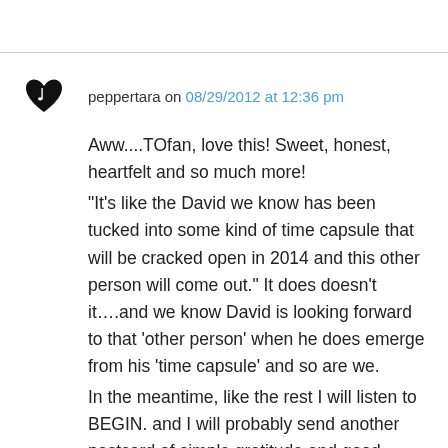peppertara on 08/29/2012 at 12:36 pm
Aww....TOfan, love this! Sweet, honest, heartfelt and so much more! “It’s like the David we know has been tucked into some kind of time capsule that will be cracked open in 2014 and this other person will come out.” It does doesn’t it…and we know David is looking forward to that ‘other person’ when he does emerge from his ‘time capsule’ and so are we. In the meantime, like the rest I will listen to BEGIN. and I will probably send another postcard of simple gratitude and good wishes, short and sweet (but oh I love your letter so